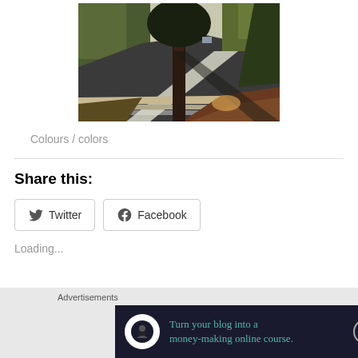[Figure (photo): Outdoor photo of a road/street with a sidewalk, tree trunk in foreground, autumn leaves on the ground, and trees lining the street.]
Colours / colors
Share this:
[Figure (other): Twitter share button]
[Figure (other): Facebook share button]
Loading...
Advertisements
[Figure (infographic): Advertisement banner: 'Turn your blog into a money-making online course.' with arrow and Teachable logo on dark background.]